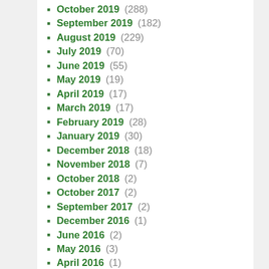October 2019 (288)
September 2019 (182)
August 2019 (229)
July 2019 (70)
June 2019 (55)
May 2019 (19)
April 2019 (17)
March 2019 (17)
February 2019 (28)
January 2019 (30)
December 2018 (18)
November 2018 (7)
October 2018 (2)
October 2017 (2)
September 2017 (2)
December 2016 (1)
June 2016 (2)
May 2016 (3)
April 2016 (1)
March 2016 (1)
January 2016 (1)
December 2015 (1)